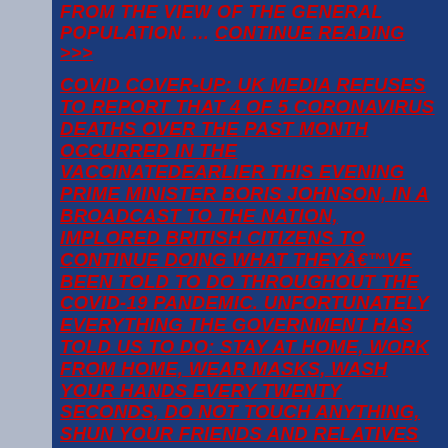FROM THE VIEW OF THE GENERAL POPULATION. ... Continue reading >>>
COVID COVER-UP: UK MEDIA REFUSES TO REPORT THAT 4 OF 5 CORONAVIRUS DEATHS OVER THE PAST MONTH OCCURRED IN THE VACCINATEDEarlier this evening Prime Minister Boris Johnson, in a broadcast to the nation, implored British citizens to continue doing what theyâ€™ve been told to do throughout the COVID-19 pandemic. Unfortunately everything the government has told us to do: Stay at home, Work from home, Wear masks, wash your hands every twenty seconds, do not touch anything, Shun your friends and relatives especially if they